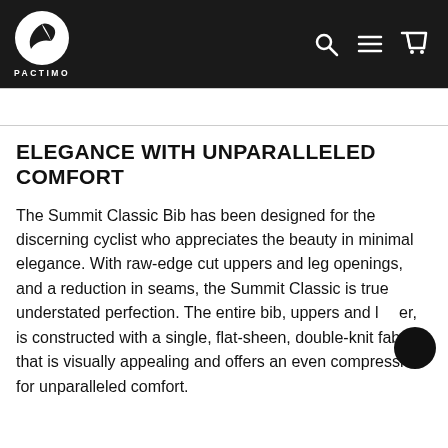[Figure (logo): Pactimo logo: white circle with a stylized dark bird/wing shape, with 'PACTIMO' text below in white on dark header bar. Navigation icons (search, menu, cart) on the right.]
ELEGANCE WITH UNPARALLELED COMFORT
The Summit Classic Bib has been designed for the discerning cyclist who appreciates the beauty in minimal elegance. With raw-edge cut uppers and leg openings, and a reduction in seams, the Summit Classic is true understated perfection. The entire bib, uppers and lower, is constructed with a single, flat-sheen, double-knit fabric that is visually appealing and offers an even compression for unparalleled comfort.